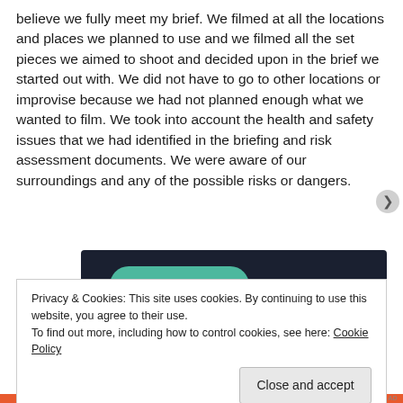believe we fully meet my brief. We filmed at all the locations and places we planned to use and we filmed all the set pieces we aimed to shoot and decided upon in the brief we started out with. We did not have to go to other locations or improvise because we had not planned enough what we wanted to film. We took into account the health and safety issues that we had identified in the briefing and risk assessment documents. We were aware of our surroundings and any of the possible risks or dangers.
[Figure (screenshot): Dark-background webpage area with a teal 'Learn More' button and a 'sensei' logo/text at bottom right]
Privacy & Cookies: This site uses cookies. By continuing to use this website, you agree to their use.
To find out more, including how to control cookies, see here: Cookie Policy
Close and accept